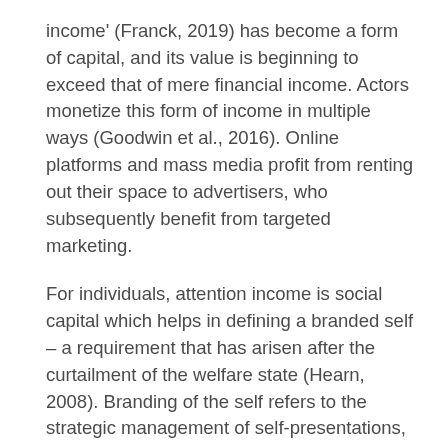income' (Franck, 2019) has become a form of capital, and its value is beginning to exceed that of mere financial income. Actors monetize this form of income in multiple ways (Goodwin et al., 2016). Online platforms and mass media profit from renting out their space to advertisers, who subsequently benefit from targeted marketing.
For individuals, attention income is social capital which helps in defining a branded self – a requirement that has arisen after the curtailment of the welfare state (Hearn, 2008). Branding of the self refers to the strategic management of self-presentations, including the provision of “details of personal daily life” for public consumption (Banet-Weiser, 2012). Platforms like Facebook serve as markets for these brands to be traded amongst people in the form of user-generated content, leading to an unequal distribution of social capital.